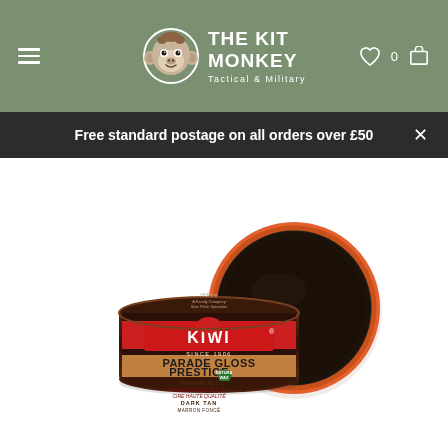The Kit Monkey — Tactical & Military
Free standard postage on all orders over £50
[Figure (photo): Kiwi Parade Gloss Prestige shoe polish tin in Dark Tan / Marron Foncé, shown with lid open revealing dark tan wax inside. The tin lid displays the Kiwi brand, 'Parade Gloss Prestige', 'Since 1906', 'The World's No.1 Premium Shoe Polish / Cire Haute Qualité', and 'Dark Tan / Marron Foncé' text, with a green Natura Wax shield logo.]